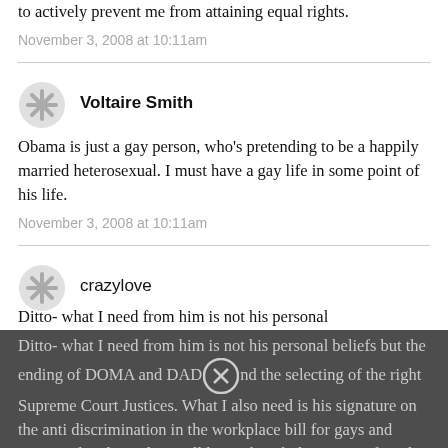to actively prevent me from attaining equal rights.
November 3, 2008 at 10:11am
Voltaire Smith
Obama is just a gay person, who's pretending to be a happily married heterosexual. I must have a gay life in some point of his life.
November 3, 2008 at 10:11am
crazylove
Ditto- what I need from him is not his personal beliefs but the ending of DOMA and DAD[X] and the selecting of the right Supreme Court Justices. What I also need is his signature on the anti discrimination in the workplace bill for gays and transgendered people. I will leave the whole emotional angle to the rest of you who seem more concerned with how he makes you feel. I didn't care in the primary, and I